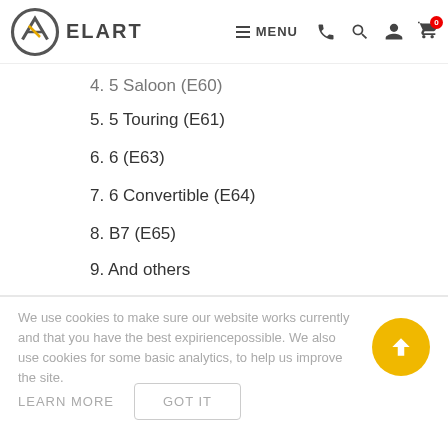ELART — MENU navigation header with phone, search, account, cart icons
4. 5 Saloon (E60)
5. 5 Touring (E61)
6. 6 (E63)
7. 6 Convertible (E64)
8. B7 (E65)
9. And others
We use cookies to make sure our website works currently and that you have the best expiriencepossible. We also use cookies for some basic analytics, to help us improve the site.
LEARN MORE   GOT IT